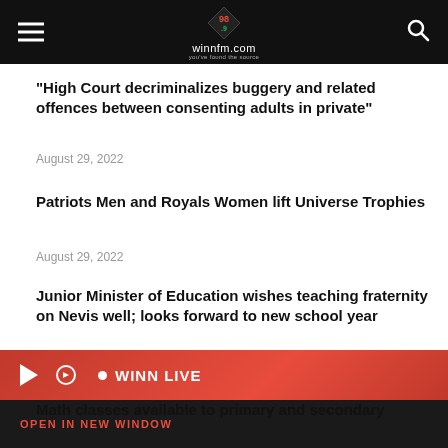winnfm.com
“High Court decriminalizes buggery and related offences between consenting adults in private”
August 29, 2022
Patriots Men and Royals Women lift Universe Trophies
August 29, 2022
Junior Minister of Education wishes teaching fraternity on Nevis well; looks forward to new school year
WINN LIVE
OPEN IN NEW WINDOW
Math classes available to primary and secondary